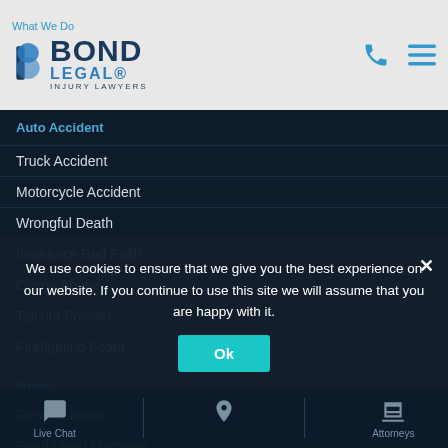Bond Legal Injury Lawyers
Auto Accident
Truck Accident
Motorcycle Accident
Wrongful Death
Insurance Bad Faith
Clergy Abuse
Talcum Powder
Firefighting Foam
News
General News
Bond Legal Moments
Contact
We use cookies to ensure that we give you the best experience on our website. If you continue to use this site we will assume that you are happy with it.